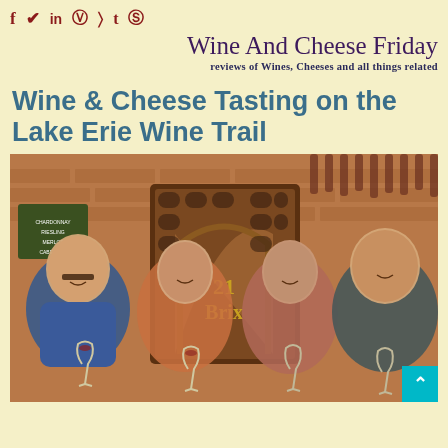f y in [camera] [rss] t [pinterest]
Wine And Cheese Friday
reviews of Wines, Cheeses and all things related
Wine & Cheese Tasting on the Lake Erie Wine Trail
[Figure (photo): Four people smiling and holding wine glasses inside 21 Brix winery tasting room, with brick walls and wine rack visible in background showing the '21 Brix' logo]